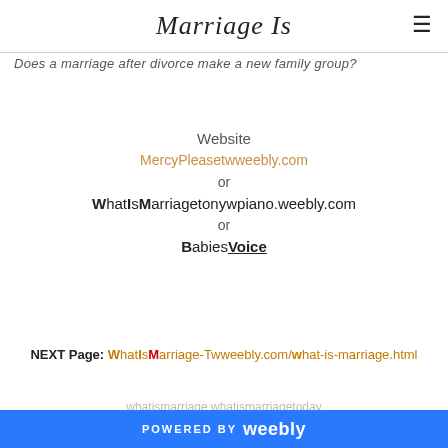Marriage Is
Does a marriage after divorce make a new family group?
Website
MercyPleasetwweebly.com
or
WhatIsMarriagetonywpiano.weebly.com
or
BabiesVoice
NEXT Page: WhatIsMarriage-Twweebly.com/what-is-marriage.html
whatismarriage whatismarriagetoday
POWERED BY weebly